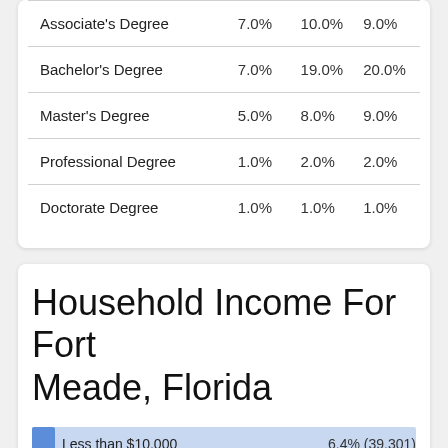|  |  |  |  |
| --- | --- | --- | --- |
| Associate's Degree | 7.0% | 10.0% | 9.0% |
| Bachelor's Degree | 7.0% | 19.0% | 20.0% |
| Master's Degree | 5.0% | 8.0% | 9.0% |
| Professional Degree | 1.0% | 2.0% | 2.0% |
| Doctorate Degree | 1.0% | 1.0% | 1.0% |
Household Income For Fort Meade, Florida
[Figure (bar-chart): Household Income For Fort Meade, Florida]